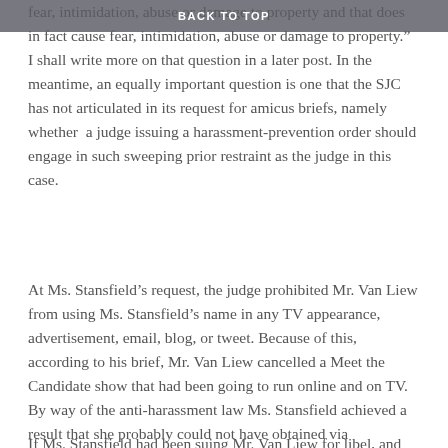BACK TO TOP
fear, intimidation, abuse or damage to property and that does in fact cause fear, intimidation, abuse or damage to property.”  I shall write more on that question in a later post. In the meantime, an equally important question is one that the SJC has not articulated in its request for amicus briefs, namely whether  a judge issuing a harassment-prevention order should engage in such sweeping prior restraint as the judge in this case.
At Ms. Stansfield’s request, the judge prohibited Mr. Van Liew from using Ms. Stansfield’s name in any TV appearance, advertisement, email, blog, or tweet. Because of this, according to his brief, Mr. Van Liew cancelled a Meet the Candidate show that had been going to run online and on TV.  By way of the anti-harassment law Ms. Stansfield achieved a result that she probably could not have obtained via defamation law.
If Ms. Stansfield had been suing Mr. Van Liew for libel, and